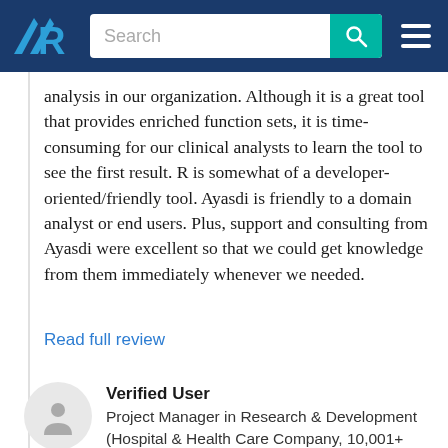[Figure (logo): TrustRadius logo — stylized TR letters in blue with search bar and hamburger menu on dark navy header]
analysis in our organization. Although it is a great tool that provides enriched function sets, it is time-consuming for our clinical analysts to learn the tool to see the first result. R is somewhat of a developer-oriented/friendly tool. Ayasdi is friendly to a domain analyst or end users. Plus, support and consulting from Ayasdi were excellent so that we could get knowledge from them immediately whenever we needed.
Read full review
Verified User
Project Manager in Research & Development (Hospital & Health Care Company, 10,001+ employees)